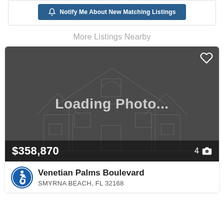[Figure (screenshot): Blue 'Notify Me About New Matching Listings' button inside a white card with border]
More Listings Nearby
[Figure (screenshot): Real estate listing card showing loading photo placeholder with house outline, price $358,870, 4 photos, with accessibility icon]
Venetian Palms Boulevard
SMYRNA BEACH, FL 32168